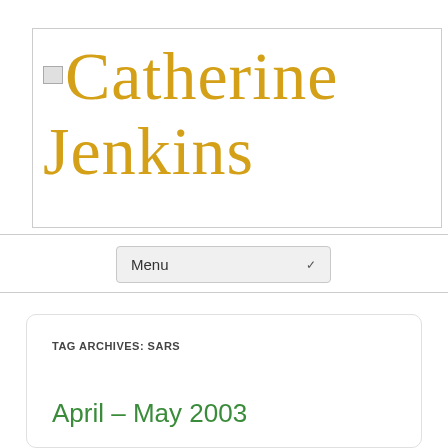[Figure (logo): Catherine Jenkins website header banner with cursive golden/amber text reading 'Catherine Jenkins' on white background with a small broken image icon in top left]
[Figure (screenshot): Menu dropdown selector UI element showing 'Menu' text with a chevron/arrow on the right]
TAG ARCHIVES: SARS
April – May 2003